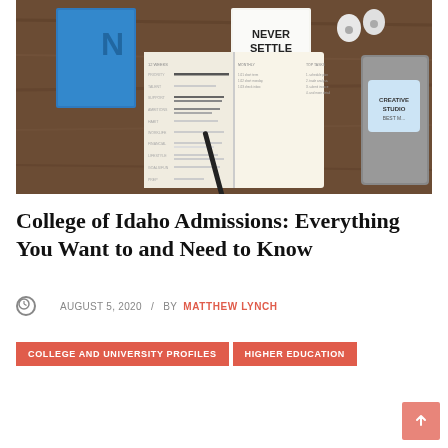[Figure (photo): Overhead/flat-lay photo of a wooden desk with a planner/bullet journal open showing handwritten notes and to-do lists, a black stylus pen, a blue notebook, wireless earbuds, a laptop with stickers, and a 'Never Settle' motivational card.]
College of Idaho Admissions: Everything You Want to and Need to Know
AUGUST 5, 2020  /  BY MATTHEW LYNCH
COLLEGE AND UNIVERSITY PROFILES
HIGHER EDUCATION